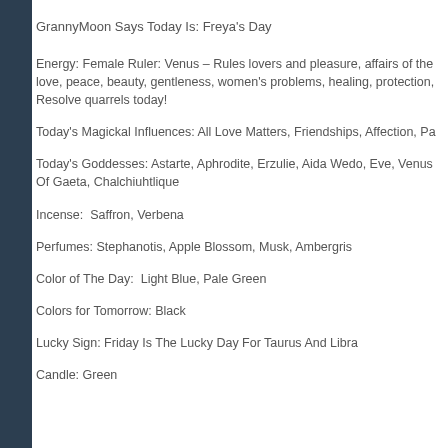GrannyMoon Says Today Is: Freya's Day
Energy: Female Ruler: Venus – Rules lovers and pleasure, affairs of the love, peace, beauty, gentleness, women's problems, healing, protection, Resolve quarrels today!
Today's Magickal Influences: All Love Matters, Friendships, Affection, Pa
Today's Goddesses: Astarte, Aphrodite, Erzulie, Aida Wedo, Eve, Venus Of Gaeta, Chalchiuhtlique
Incense:  Saffron, Verbena
Perfumes: Stephanotis, Apple Blossom, Musk, Ambergris
Color of The Day:  Light Blue, Pale Green
Colors for Tomorrow: Black
Lucky Sign: Friday Is The Lucky Day For Taurus And Libra
Candle: Green